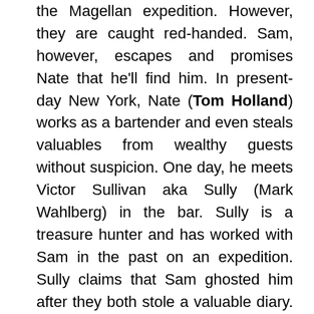the Magellan expedition. However, they are caught red-handed. Sam, however, escapes and promises Nate that he'll find him. In present-day New York, Nate (Tom Holland) works as a bartender and even steals valuables from wealthy guests without suspicion. One day, he meets Victor Sullivan aka Sully (Mark Wahlberg) in the bar. Sully is a treasure hunter and has worked with Sam in the past on an expedition. Sully claims that Sam ghosted him after they both stole a valuable diary. Due to the Sam connection, Nate agrees when Sully asks him for help – to find the Magellan treasure. As per the legend and the contents in the diary, the treasure is hidden in a place that has been locked with the help of two keys. Sam already has one key. The other key is about to be auctioned in New York. Santiago Moncada (Antonio Banderas) is looking forward to buying this key at the auction. It was his family that funded the Magellan expedition. Hence,